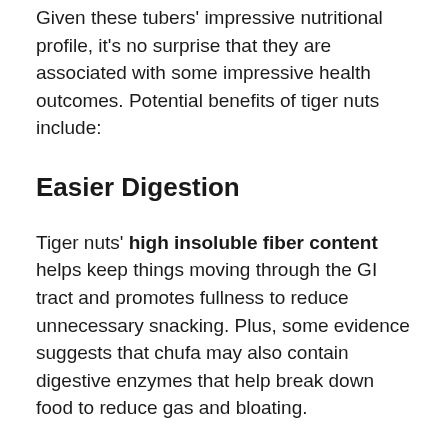Given these tubers' impressive nutritional profile, it's no surprise that they are associated with some impressive health outcomes. Potential benefits of tiger nuts include:
Easier Digestion
Tiger nuts' high insoluble fiber content helps keep things moving through the GI tract and promotes fullness to reduce unnecessary snacking. Plus, some evidence suggests that chufa may also contain digestive enzymes that help break down food to reduce gas and bloating.
Better Heart Health